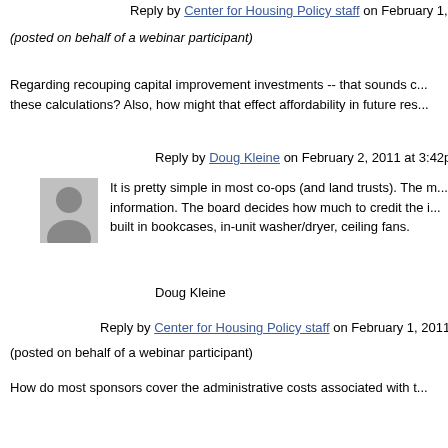Reply by Center for Housing Policy staff on February 1, 2011 at 4:01pm
(posted on behalf of a webinar participant)
Regarding recouping capital improvement investments -- that sounds c... these calculations? Also, how might that effect affordability in future res...
Reply by Doug Kleine on February 2, 2011 at 3:42pm
[Figure (illustration): Gray silhouette avatar of a person]
It is pretty simple in most co-ops (and land trusts). The m... information. The board decides how much to credit the i... built in bookcases, in-unit washer/dryer, ceiling fans.
Doug Kleine
Reply by Center for Housing Policy staff on February 1, 2011 at 4:12pm
(posted on behalf of a webinar participant)
How do most sponsors cover the administrative costs associated with t...